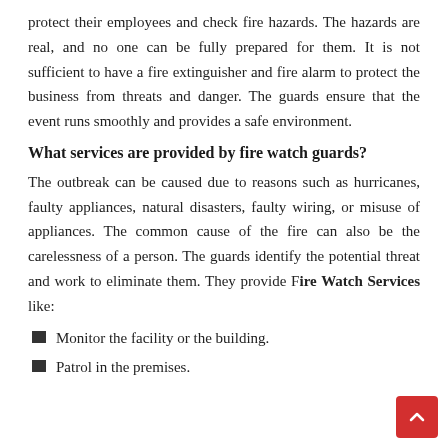protect their employees and check fire hazards. The hazards are real, and no one can be fully prepared for them. It is not sufficient to have a fire extinguisher and fire alarm to protect the business from threats and danger. The guards ensure that the event runs smoothly and provides a safe environment.
What services are provided by fire watch guards?
The outbreak can be caused due to reasons such as hurricanes, faulty appliances, natural disasters, faulty wiring, or misuse of appliances. The common cause of the fire can also be the carelessness of a person. The guards identify the potential threat and work to eliminate them. They provide Fire Watch Services like:
Monitor the facility or the building.
Patrol in the premises.